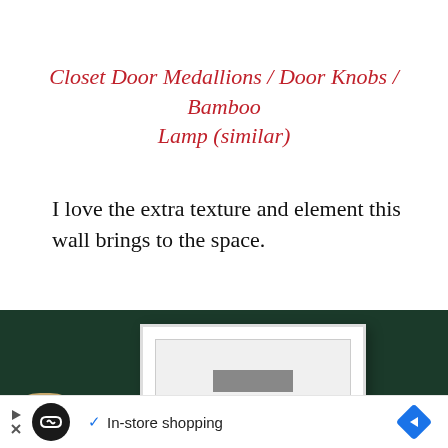Closet Door Medallions / Door Knobs / Bamboo Lamp (similar)
I love the extra texture and element this wall brings to the space.
[Figure (photo): Photo showing a dark green painted wall with a white framed artwork/panel mounted on it, and a bamboo or wicker lamp base visible at the bottom left. An advertisement bar overlay at the bottom shows a circular logo, a checkmark with 'In-store shopping' text, and a blue diamond arrow icon.]